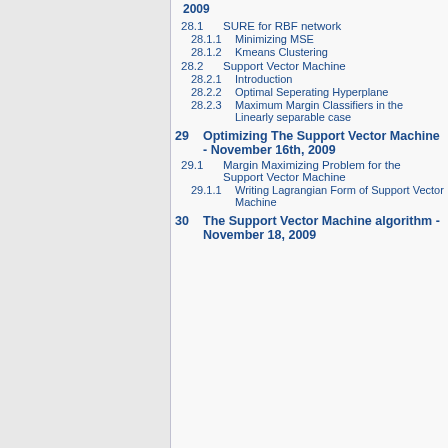2009
28.1  SURE for RBF network
28.1.1  Minimizing MSE
28.1.2  Kmeans Clustering
28.2  Support Vector Machine
28.2.1  Introduction
28.2.2  Optimal Seperating Hyperplane
28.2.3  Maximum Margin Classifiers in the Linearly separable case
29  Optimizing The Support Vector Machine - November 16th, 2009
29.1  Margin Maximizing Problem for the Support Vector Machine
29.1.1  Writing Lagrangian Form of Support Vector Machine
30  The Support Vector Machine algorithm - November 18, 2009